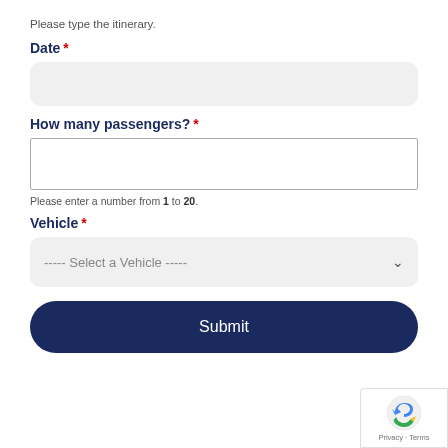Please type the itinerary.
Date *
How many passengers? *
Please enter a number from 1 to 20.
Vehicle *
----- Select a Vehicle -----
Submit
Privacy · Terms